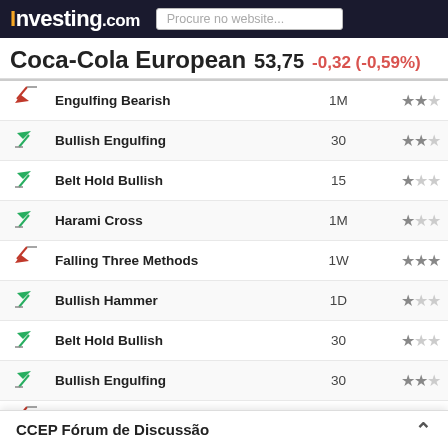Investing.com — Procure no website...
Coca-Cola European  53,75  -0,32 (-0,59%)
| Icon | Pattern | Timeframe | Reliability |
| --- | --- | --- | --- |
| bearish | Engulfing Bearish | 1M | ★★☆ |
| bullish | Bullish Engulfing | 30 | ★★☆ |
| bullish | Belt Hold Bullish | 15 | ★☆☆ |
| bullish | Harami Cross | 1M | ★☆☆ |
| bearish | Falling Three Methods | 1W | ★★★ |
| bullish | Bullish Hammer | 1D | ★☆☆ |
| bullish | Belt Hold Bullish | 30 | ★☆☆ |
| bullish | Bullish Engulfing | 30 | ★★☆ |
| bearish | Engulfing Bearish | 15 | ★★☆ |
| bearish | Three Outside Down | 30 | ★★★ |
| bullish | Harami Bullish | 15 | ★☆☆ |
| bullish | Inverted Hammer | 1W | ★☆☆ |
| bearish | Engulfing Bearish | 30 | ★★☆ |
| bearish | Evening ... | ? |  |
| bearish | Belt Hold... | ? |  |
CCEP Fórum de Discussão